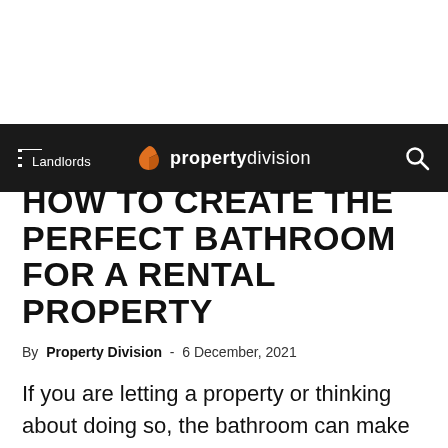propertydivision
Landlords
HOW TO CREATE THE PERFECT BATHROOM FOR A RENTAL PROPERTY
By Property Division - 6 December, 2021
If you are letting a property or thinking about doing so, the bathroom can make or break the decision for many